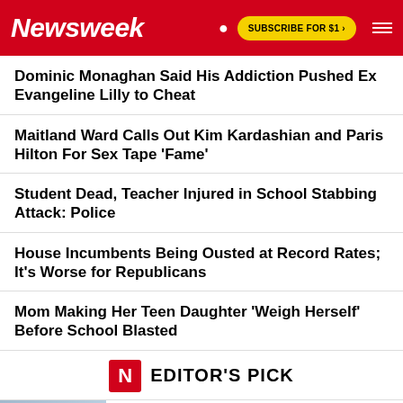Newsweek | SUBSCRIBE FOR $1 >
Dominic Monaghan Said His Addiction Pushed Ex Evangeline Lilly to Cheat
Maitland Ward Calls Out Kim Kardashian and Paris Hilton For Sex Tape 'Fame'
Student Dead, Teacher Injured in School Stabbing Attack: Police
House Incumbents Being Ousted at Record Rates; It's Worse for Republicans
Mom Making Her Teen Daughter 'Weigh Herself' Before School Blasted
EDITOR'S PICK
RUSSIA